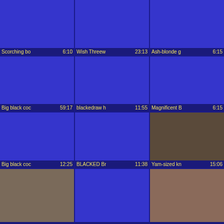[Figure (screenshot): Video thumbnail grid with 12 cells, 3 columns x 4 rows. Row 1: blue thumbnails labeled 'Scorching bo 6:10', 'Wish Threew 23:13', 'Ash-blonde g 6:15'. Row 2: blue thumbnails labeled 'Big black coc 59:17', 'blackedraw h 11:55', 'Magnificent B 6:15'. Row 3: blue/real thumbnails labeled 'Big black coc 12:25', 'BLACKED Br 11:38', 'Yam-sized kn 15:06'. Row 4: real/blue thumbnails (no labels visible).]